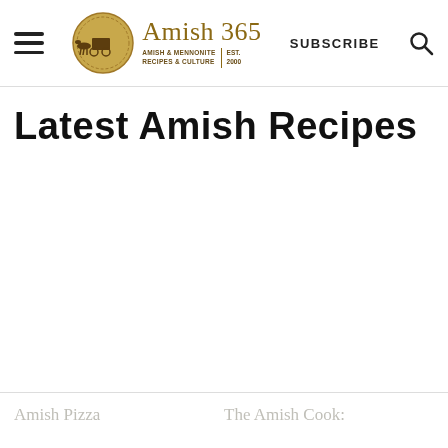Amish 365 — AMISH & MENNONITE RECIPES & CULTURE | EST. 2000 | SUBSCRIBE
Latest Amish Recipes
Amish Pizza
The Amish Cook: